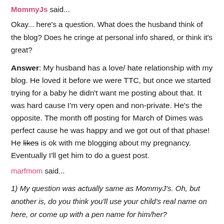MommyJs said...
Okay... here's a question. What does the husband think of the blog? Does he cringe at personal info shared, or think it's great?
Answer: My husband has a love/ hate relationship with my blog. He loved it before we were TTC, but once we started trying for a baby he didn't want me posting about that. It was hard cause I'm very open and non-private. He's the opposite. The month off posting for March of Dimes was perfect cause he was happy and we got out of that phase! He likes is ok with me blogging about my pregnancy. Eventually I'll get him to do a guest post.
marfmom said...
1) My question was actually same as MommyJ's. Oh, but another is, do you think you'll use your child's real name on here, or come up with a pen name for him/her?